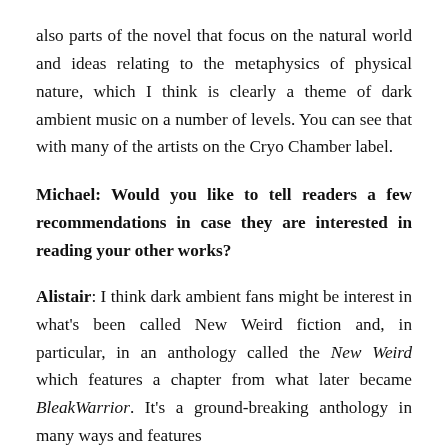also parts of the novel that focus on the natural world and ideas relating to the metaphysics of physical nature, which I think is clearly a theme of dark ambient music on a number of levels. You can see that with many of the artists on the Cryo Chamber label.
Michael: Would you like to tell readers a few recommendations in case they are interested in reading your other works?
Alistair: I think dark ambient fans might be interest in what's been called New Weird fiction and, in particular, in an anthology called the New Weird which features a chapter from what later became BleakWarrior. It's a ground-breaking anthology in many ways and features